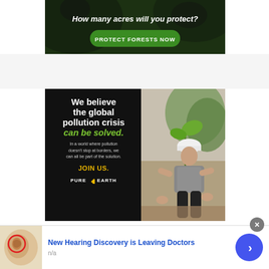[Figure (photo): Forest conservation ad banner with monkey/wildlife in jungle background. Text: 'How many acres will you protect?' with green button 'PROTECT FORESTS NOW']
[Figure (photo): Pure Earth environmental ad. Left half: black background with white bold text 'We believe the global pollution crisis can be solved.' in green italic, subtext 'In a world where pollution doesn't stop at borders, we can all be part of the solution.', yellow 'JOIN US.', and Pure Earth logo. Right half: photo of man in white hard hat planting a sapling.]
[Figure (photo): Bottom banner ad: hearing-related ad with ear anatomy image on left, blue text 'New Hearing Discovery is Leaving Doctors', subtext 'n/a', blue circular arrow button on right, and close X button.]